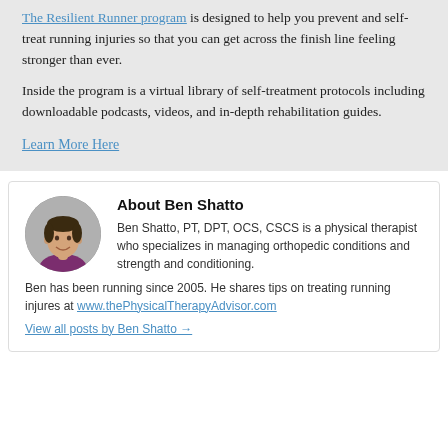The Resilient Runner program is designed to help you prevent and self-treat running injuries so that you can get across the finish line feeling stronger than ever.
Inside the program is a virtual library of self-treatment protocols including downloadable podcasts, videos, and in-depth rehabilitation guides.
Learn More Here
About Ben Shatto
Ben Shatto, PT, DPT, OCS, CSCS is a physical therapist who specializes in managing orthopedic conditions and strength and conditioning. Ben has been running since 2005. He shares tips on treating running injures at www.thePhysicalTherapyAdvisor.com
View all posts by Ben Shatto →